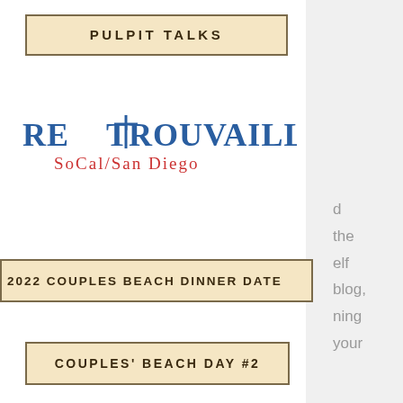PULPIT TALKS
[Figure (logo): Retrouvaille SoCal/San Diego logo with cross symbol in blue and red text]
2022 COUPLES BEACH DINNER DATE
COUPLES' BEACH DAY #2
The Program
Events
Contact
DONATE
Community
0